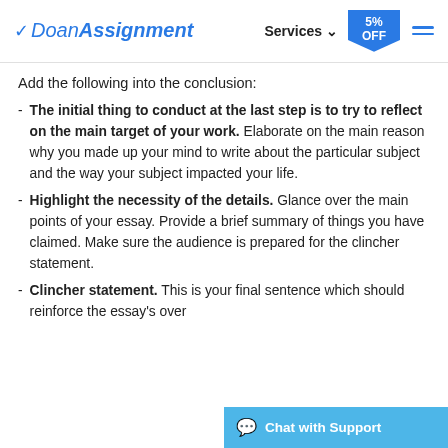DoanAssignment | Services | 5% OFF
Add the following into the conclusion:
The initial thing to conduct at the last step is to try to reflect on the main target of your work. Elaborate on the main reason why you made up your mind to write about the particular subject and the way your subject impacted your life.
Highlight the necessity of the details. Glance over the main points of your essay. Provide a brief summary of things you have claimed. Make sure the audience is prepared for the clincher statement.
Clincher statement. This is your final sentence which should reinforce the essay's over...